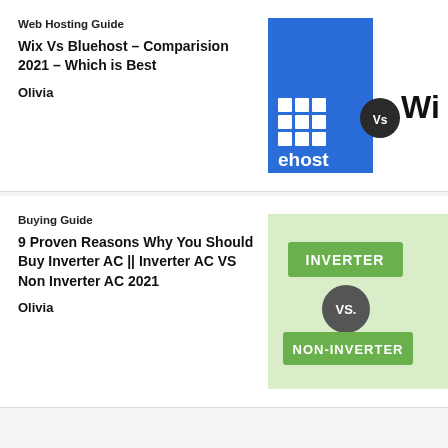Web Hosting Guide
Wix Vs Bluehost – Comparision 2021 – Which is Best
Olivia
[Figure (illustration): Bluehost blue logo panel with grid icon and 'ehost' text, a dark circle with 'Vs' in the middle, and partial Wix logo text on the right]
Buying Guide
9 Proven Reasons Why You Should Buy Inverter AC || Inverter AC VS Non Inverter AC 2021
Olivia
[Figure (illustration): Light green background with 'INVERTER' in a green rectangle, a dark circle with 'VS.' text, and 'NON-INVERTER' in another green rectangle below]